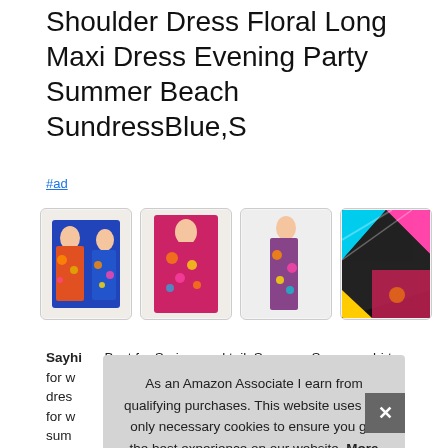Shoulder Dress Floral Long Maxi Dress Evening Party Summer Beach SundressBlue,S
#ad
[Figure (photo): Four thumbnail images of floral maxi dresses in colorful prints, shown on mannequins and in flat lay, with rounded border frames]
Sayhi Best for Spring, cocktail, Summer, Summer shirts for w... dres... for w... sum...
As an Amazon Associate I earn from qualifying purchases. This website uses the only necessary cookies to ensure you get the best experience on our website. More information